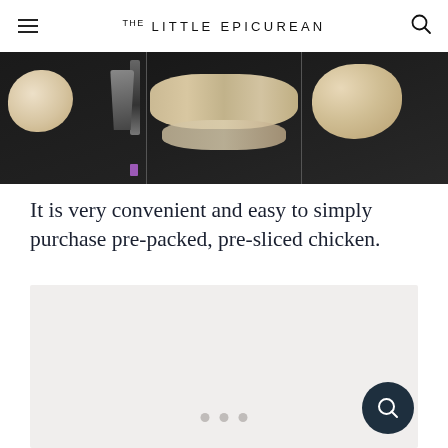THE LITTLE EPICUREAN
[Figure (photo): Three-panel photo strip showing raw chicken preparation steps: left panel shows a whole chicken with kitchen scissors on dark slate background, middle panel shows spatchcocked/cut chicken pieces laid flat, right panel shows another angle of the chicken pieces.]
It is very convenient and easy to simply purchase pre-packed, pre-sliced chicken.
[Figure (photo): Light gray/beige placeholder image area with three pagination dots at the bottom center, and a dark teal circular search button in the bottom right corner.]